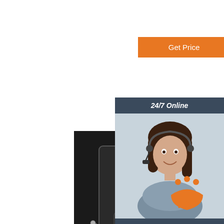[Figure (other): Orange 'Get Price' button on white background]
[Figure (photo): Product photo: two portable fiber optic testing devices (OTDR/power meters) with orange connectors placed on a dark laptop on a dark surface]
[Figure (photo): Customer service representative smiling, wearing a headset, with '24/7 Online' header and 'Click here for free chat!' and 'QUOTATION' button overlay on right side panel]
[Figure (logo): Orange paw-print TOP logo in the bottom right corner]